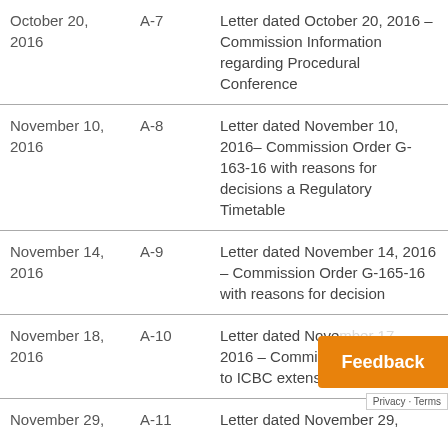| Date | Ref | Description |
| --- | --- | --- |
| October 20, 2016 | A-7 | Letter dated October 20, 2016 – Commission Information regarding Procedural Conference |
| November 10, 2016 | A-8 | Letter dated November 10, 2016– Commission Order G-163-16 with reasons for decisions a Regulatory Timetable |
| November 14, 2016 | A-9 | Letter dated November 14, 2016 – Commission Order G-165-16 with reasons for decision |
| November 18, 2016 | A-10 | Letter dated November 17, 2016 – Commission … to ICBC extension… |
| November 29, | A-11 | Letter dated November 29, |